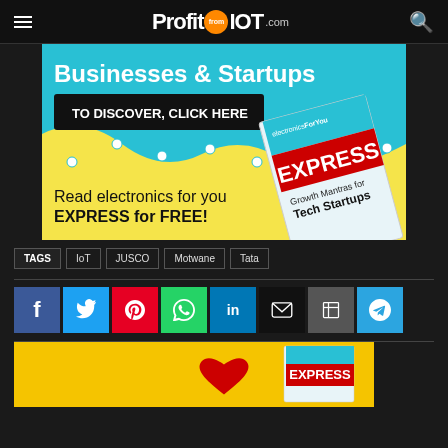ProfitfromIOT.com
[Figure (advertisement): Electronics For You EXPRESS magazine ad — Businesses & Startups, TO DISCOVER CLICK HERE, Read electronics for you EXPRESS for FREE!]
TAGS  IoT  JUSCO  Motwane  Tata
[Figure (infographic): Social sharing buttons: Facebook, Twitter, Pinterest, WhatsApp, LinkedIn, Email, Print, Telegram]
[Figure (advertisement): Bottom yellow banner ad with red heart and Electronics For You EXPRESS magazine]